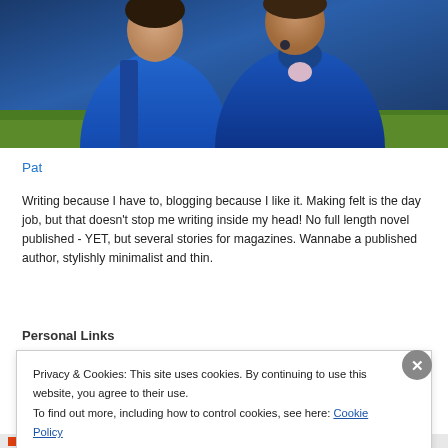[Figure (photo): Photo of a person or persons outdoors, wearing blue/navy jackets, with green grass visible in background. Image is cropped showing upper body.]
Pat
Writing because I have to, blogging because I like it. Making felt is the day job, but that doesn't stop me writing inside my head! No full length novel published - YET, but several stories for magazines. Wannabe a published author, stylishly minimalist and thin.
Personal Links
Privacy & Cookies: This site uses cookies. By continuing to use this website, you agree to their use.
To find out more, including how to control cookies, see here: Cookie Policy
Close and accept